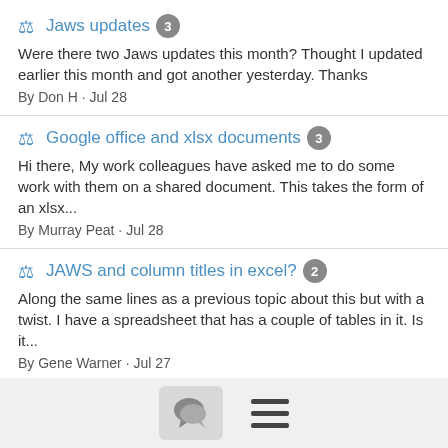Jaws updates 3
Were there two Jaws updates this month? Thought I updated earlier this month and got another yesterday. Thanks
By Don H · Jul 28
Google office and xlsx documents 3
Hi there, My work colleagues have asked me to do some work with them on a shared document. This takes the form of an xlsx...
By Murray Peat · Jul 28
JAWS and column titles in excel? 2
Along the same lines as a previous topic about this but with a twist. I have a spreadsheet that has a couple of tables in it. Is it...
By Gene Warner · Jul 27
Jeff Lukacsena: more Kindle for PC questions 2
Hello List, People mentioned to get the Kindle for PC. Where can